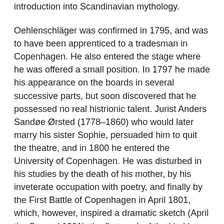introduction into Scandinavian mythology.
Oehlenschläger was confirmed in 1795, and was to have been apprenticed to a tradesman in Copenhagen. He also entered the stage where he was offered a small position. In 1797 he made his appearance on the boards in several successive parts, but soon discovered that he possessed no real histrionic talent. Jurist Anders Sandøe Ørsted (1778–1860) who would later marry his sister Sophie, persuaded him to quit the theatre, and in 1800 he entered the University of Copenhagen. He was disturbed in his studies by the death of his mother, by his inveterate occupation with poetry, and finally by the First Battle of Copenhagen in April 1801, which, however, inspired a dramatic sketch (April the Second 1801), the first work of the kind by his pen that we possess.
In the summer of 1802, when Oehlenschläger had an old Scandinavian romance, as well as a volume of lyrics in the press, the young Norse philosopher, Henrik Steffens (1773–1845), returned to Copenhagen after a long visit to Friedrich Wilhelm Joseph Schelling (1775–1854) in Germany. He was full of new romantic ideas. His lectures at the university, in which Goethe and Schiller were...